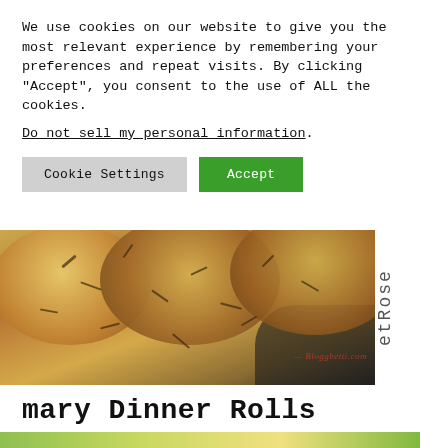We use cookies on our website to give you the most relevant experience by remembering your preferences and repeat visits. By clicking "Accept", you consent to the use of ALL the cookies.
Do not sell my personal information.
Cookie Settings
Accept
[Figure (photo): Close-up photo of golden-brown rosemary dinner rolls in a dark pan, with rosemary herbs visible on top. Bloggbetti.com watermark visible.]
etRose
mary Dinner Rolls
[Figure (photo): Partial view of another food photo at the bottom of the page, showing green vegetables.]